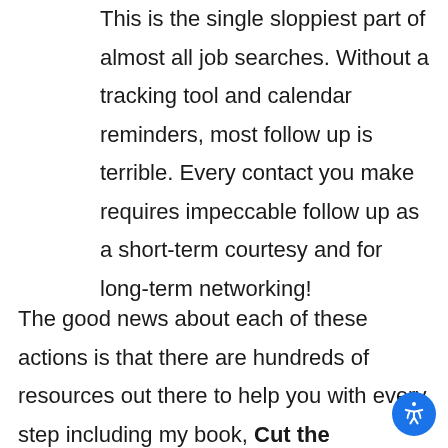This is the single sloppiest part of almost all job searches. Without a tracking tool and calendar reminders, most follow up is terrible. Every contact you make requires impeccable follow up as a short-term courtesy and for long-term networking!
The good news about each of these actions is that there are hundreds of resources out there to help you with every step including my book, Cut the